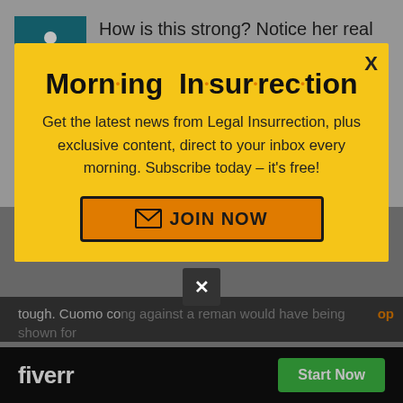[Figure (screenshot): Background webpage with accessibility icon and partial article text about power and confrontation]
[Figure (infographic): Yellow modal popup for Morning Insurrection newsletter subscription with JOIN NOW button]
fiverr
Start Now